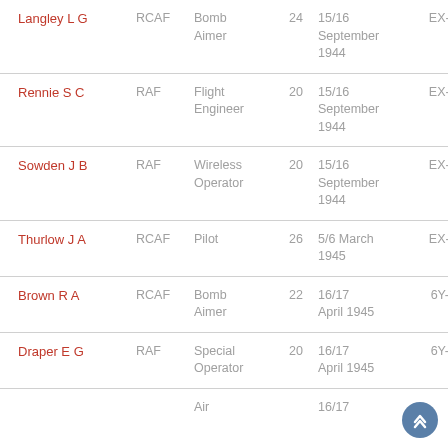| Name | Force | Role | Age | Date | Code |
| --- | --- | --- | --- | --- | --- |
| Langley L G | RCAF | Bomb Aimer | 24 | 15/16 September 1944 | EX-P |
| Rennie S C | RAF | Flight Engineer | 20 | 15/16 September 1944 | EX-P |
| Sowden J B | RAF | Wireless Operator | 20 | 15/16 September 1944 | EX-P |
| Thurlow J A | RCAF | Pilot | 26 | 5/6 March 1945 | EX-E |
| Brown R A | RCAF | Bomb Aimer | 22 | 16/17 April 1945 | 6Y-C |
| Draper E G | RAF | Special Operator | 20 | 16/17 April 1945 | 6Y-C |
| (partial) |  | Air |  | 16/17 |  |